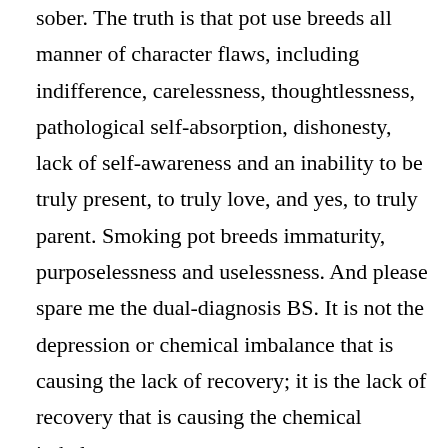sober. The truth is that pot use breeds all manner of character flaws, including indifference, carelessness, thoughtlessness, pathological self-absorption, dishonesty, lack of self-awareness and an inability to be truly present, to truly love, and yes, to truly parent. Smoking pot breeds immaturity, purposelessness and uselessness. And please spare me the dual-diagnosis BS. It is not the depression or chemical imbalance that is causing the lack of recovery; it is the lack of recovery that is causing the chemical imbalance.